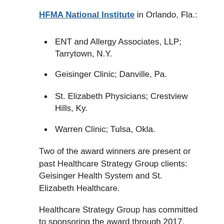HFMA National Institute in Orlando, Fla.:
ENT and Allergy Associates, LLP; Tarrytown, N.Y.
Geisinger Clinic; Danville, Pa.
St. Elizabeth Physicians; Crestview Hills, Ky.
Warren Clinic; Tulsa, Okla.
Two of the award winners are present or past Healthcare Strategy Group clients: Geisinger Health System and St. Elizabeth Healthcare.
Healthcare Strategy Group has committed to sponsoring the award through 2017. Watch our website, LinkedIn and Facebook pages this fall for